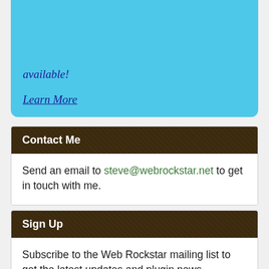available!
Learn More
Contact Me
Send an email to steve@webrockstar.net to get in touch with me.
Sign Up
Subscribe to the Web Rockstar mailing list to get the latest updates and plugin news.
* indicates required